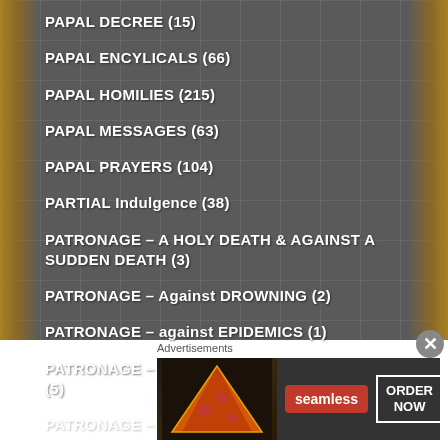PAPAL DECREE (15)
PAPAL ENCYLICALS (66)
PAPAL HOMILIES (215)
PAPAL MESSAGES (63)
PAPAL PRAYERS (104)
PARTIAL Indulgence (38)
PATRONAGE – A HOLY DEATH & AGAINST A SUDDEN DEATH (3)
PATRONAGE – Against DROWNING (2)
PATRONAGE – against EPIDEMICS (1)
PATRONAGE – ALTAR SERVERS and/or DEACONS (5)
PATRONAGE – BACHELORS (1)
Advertisements
[Figure (other): Seamless food delivery advertisement banner showing pizza and 'ORDER NOW' button]